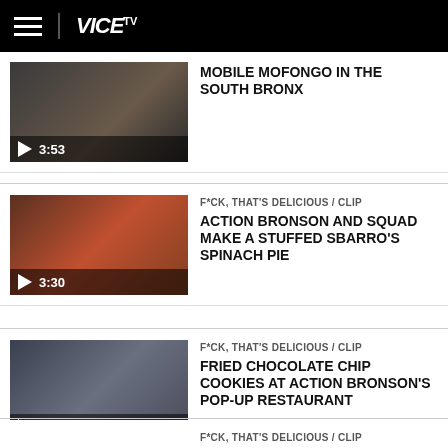VICE TV
[Figure (screenshot): Video thumbnail for Mobile Mofongo in the South Bronx, duration 3:53]
MOBILE MOFONGO IN THE SOUTH BRONX
[Figure (screenshot): Video thumbnail for Action Bronson and Squad Make a Stuffed Sbarro's Spinach Pie, duration 3:30]
F*CK, THAT'S DELICIOUS / CLIP
ACTION BRONSON AND SQUAD MAKE A STUFFED SBARRO'S SPINACH PIE
[Figure (screenshot): Video thumbnail for Fried Chocolate Chip Cookies at Action Bronson's Pop-Up Restaurant, duration 2:48]
F*CK, THAT'S DELICIOUS / CLIP
FRIED CHOCOLATE CHIP COOKIES AT ACTION BRONSON'S POP-UP RESTAURANT
F*CK, THAT'S DELICIOUS / CLIP